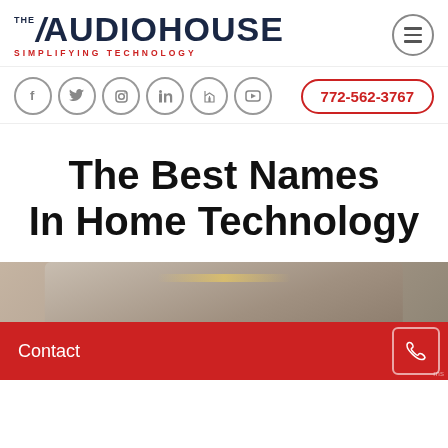[Figure (logo): The AudioHouse logo with slash mark, bold uppercase text, and tagline 'SIMPLIFYING TECHNOLOGY' in red]
[Figure (infographic): Social media icons row: Facebook, Twitter, Instagram, LinkedIn, Houzz, YouTube circles; plus phone number 772-562-3767 in red rounded button]
The Best Names In Home Technology
[Figure (photo): Luxury home interior photo, partially visible, showing ceiling lighting and modern decor]
Contact